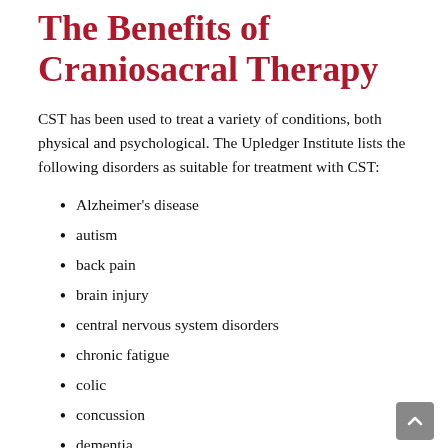The Benefits of Craniosacral Therapy
CST has been used to treat a variety of conditions, both physical and psychological. The Upledger Institute lists the following disorders as suitable for treatment with CST:
Alzheimer's disease
autism
back pain
brain injury
central nervous system disorders
chronic fatigue
colic
concussion
dementia
fibromyalgia
immune disorders